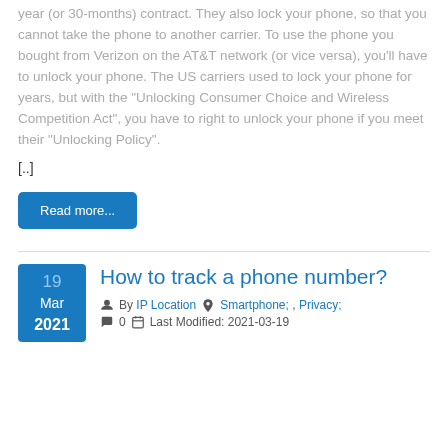year (or 30-months) contract. They also lock your phone, so that you cannot take the phone to another carrier. To use the phone you bought from Verizon on the AT&T network (or vice versa), you'll have to unlock your phone. The US carriers used to lock your phone for years, but with the "Unlocking Consumer Choice and Wireless Competition Act", you have to right to unlock your phone if you meet their "Unlocking Policy".
[..]
Read more...
How to track a phone number?
By IP Location  Smartphone; , Privacy;  0  Last Modified: 2021-03-19